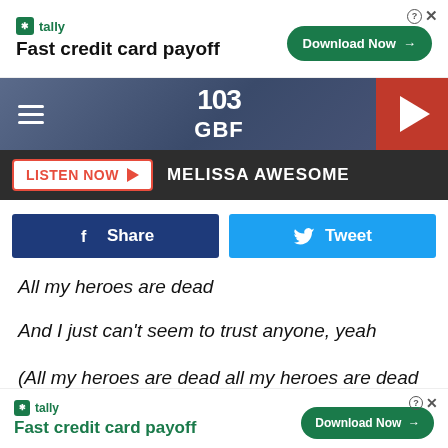[Figure (screenshot): Tally advertisement banner: green Tally logo, 'Fast credit card payoff', Download Now button, close button]
[Figure (screenshot): 103 GBF radio station navigation bar with hamburger menu, station logo, and red play button]
LISTEN NOW  MELISSA AWESOME
[Figure (screenshot): Facebook Share and Twitter Tweet buttons]
All my heroes are dead
And I just can't seem to trust anyone, yeah
(All my heroes are dead all my heroes are dead all my heroes)
I'm giving up, I'm giving up now
I'm giving up, I'm giving up now
[Figure (screenshot): Tally bottom advertisement banner: Fast credit card payoff, Download Now button]